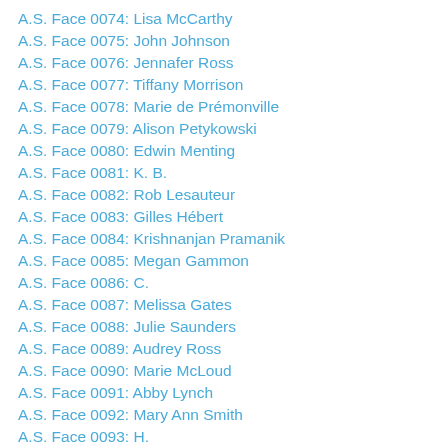A.S. Face 0074: Lisa McCarthy
A.S. Face 0075: John Johnson
A.S. Face 0076: Jennafer Ross
A.S. Face 0077: Tiffany Morrison
A.S. Face 0078: Marie de Prémonville
A.S. Face 0079: Alison Petykowski
A.S. Face 0080: Edwin Menting
A.S. Face 0081: K. B.
A.S. Face 0082: Rob Lesauteur
A.S. Face 0083: Gilles Hébert
A.S. Face 0084: Krishnanjan Pramanik
A.S. Face 0085: Megan Gammon
A.S. Face 0086: C.
A.S. Face 0087: Melissa Gates
A.S. Face 0088: Julie Saunders
A.S. Face 0089: Audrey Ross
A.S. Face 0090: Marie McLoud
A.S. Face 0091: Abby Lynch
A.S. Face 0092: Mary Ann Smith
A.S. Face 0093: H.